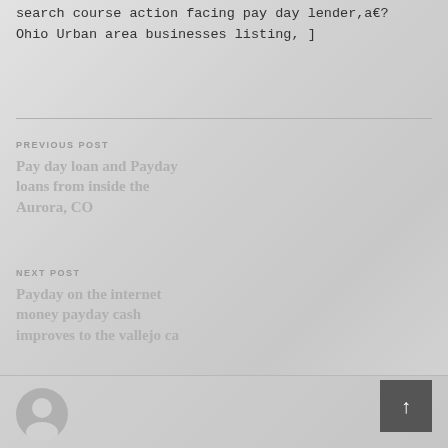search course action facing pay day lender,a€? Ohio Urban area businesses listing, ]
PREVIOUS POST
Pay day loan and Payday loans from inside the Aurora, CO
NEXT POST
Payday on the internet money payday cash improves to the vallejo ca
[Figure (illustration): Circular avatar/user icon in gray at bottom left]